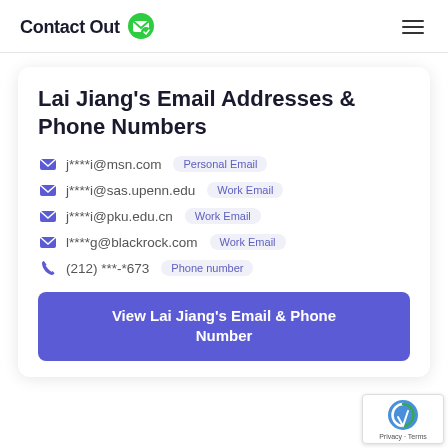ContactOut
Lai Jiang's Email Addresses & Phone Numbers
j****i@msn.com — Personal Email
j****i@sas.upenn.edu — Work Email
j****i@pku.edu.cn — Work Email
l****g@blackrock.com — Work Email
(212) ***-*673 — Phone number
View Lai Jiang's Email & Phone Number